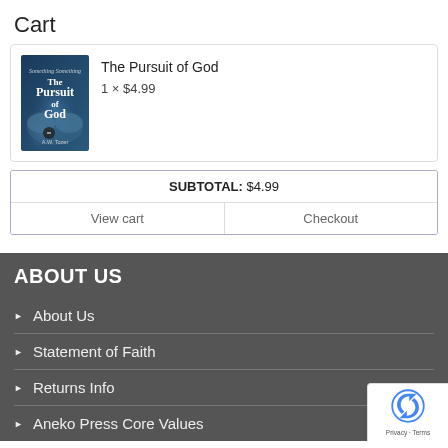Cart
[Figure (illustration): Book cover of 'The Pursuit of God' by A.W. Tozer — dark blue/teal cover with hands and bokeh background]
The Pursuit of God
1 × $4.99
| SUBTOTAL: $4.99 |
| View cart | Checkout |
ABOUT US
About Us
Statement of Faith
Returns Info
Aneko Press Core Values